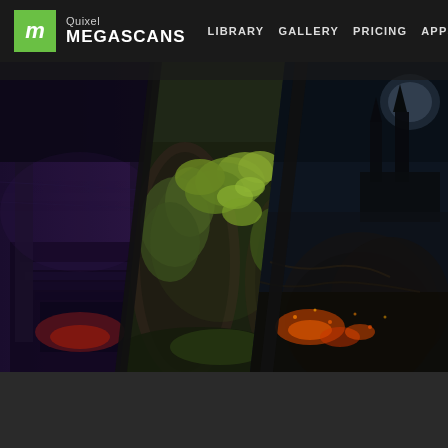Quixel MEGASCANS  LIBRARY GALLERY PRICING APPS BLOG
[Figure (screenshot): Quixel Megascans website hero section showing three composited fantasy/cinematic renders: left panel shows a purple-toned dark corridor/cave scene, center panel shows mossy overgrown rocks and foliage in a forest, right panel shows a dark volcanic rocky landscape with a gothic castle in the background and glowing lava/fire embers.]